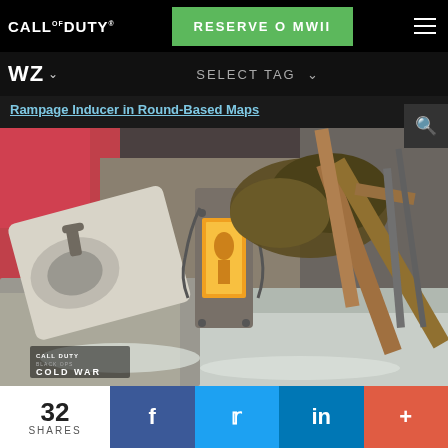CALL OF DUTY® | RESERVE O MWII
Rampage Inducer in Round-Based Maps
[Figure (screenshot): Call of Duty Black Ops Cold War in-game screenshot showing a glowing Rampage Inducer device surrounded by debris, an overturned sink, rubble, and wooden planks in a snowy outdoor environment with graffiti on a wall in the background. CALL OF DUTY BLACK OPS COLD WAR logo visible in bottom-left corner.]
32 SHARES
f
t
in
+